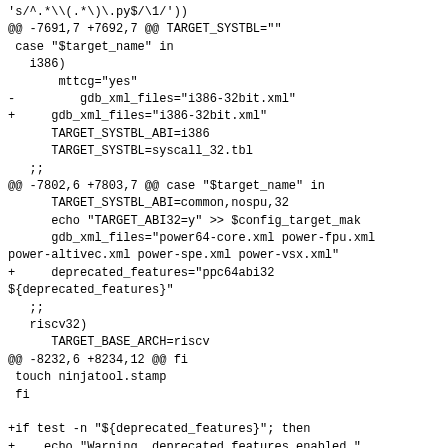Diff/patch code fragment showing changes to a build configuration file (configure script), including modifications to gdb_xml_files, deprecated_features, and a new warning block for deprecated features.